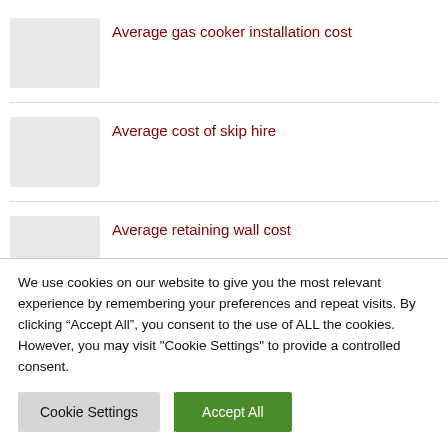Average gas cooker installation cost
Average cost of skip hire
Average retaining wall cost
We use cookies on our website to give you the most relevant experience by remembering your preferences and repeat visits. By clicking “Accept All”, you consent to the use of ALL the cookies. However, you may visit "Cookie Settings" to provide a controlled consent.